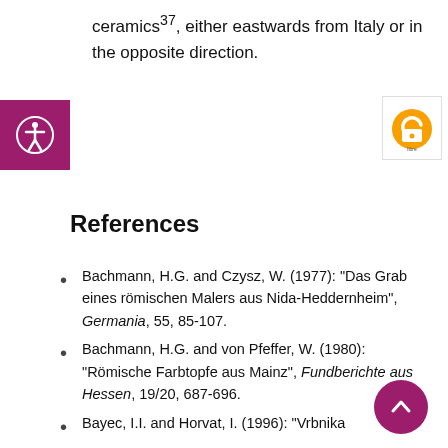ceramics³⁷, either eastwards from Italy or in the opposite direction.
[Figure (logo): Accessibility icon (person in circle) on purple/magenta background]
[Figure (logo): Open Access orange lock/circle badge]
References
Bachmann, H.G. and Czysz, W. (1977): “Das Grab eines römischen Malers aus Nida-Heddernheim”, Germania, 55, 85-107.
Bachmann, H.G. and von Pfeffer, W. (1980): “Römische Farbtopfe aus Mainz”, Fundberichte aus Hessen, 19/20, 687-696.
Bayec, I.I. and Horvat, I. (1996): “Vrbnika
[Figure (logo): Scroll-to-top button: magenta circle with upward chevron]